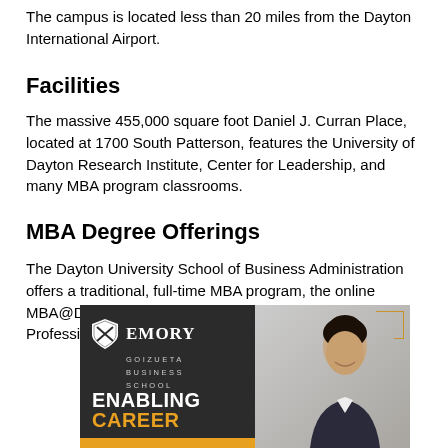The campus is located less than 20 miles from the Dayton International Airport.
Facilities
The massive 455,000 square foot Daniel J. Curran Place, located at 1700 South Patterson, features the University of Dayton Research Institute, Center for Leadership, and many MBA program classrooms.
MBA Degree Offerings
The Dayton University School of Business Administration offers a traditional, full-time MBA program, the online MBA@Dayton, and a Master of Finance and a Master of Professional Accountancy.
[Figure (photo): Emory Goizueta Business School advertisement featuring a smiling woman in professional attire, with text 'ENABLING CAREER' and the Emory Goizueta Business School logo on a dark background.]